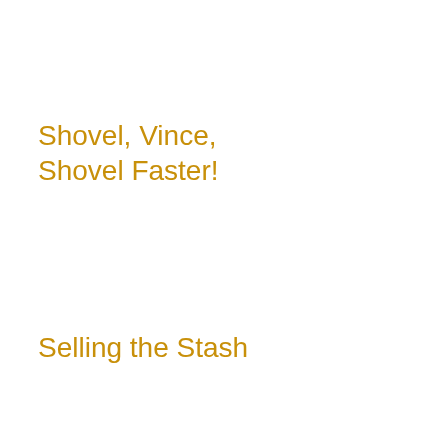Shovel, Vince, Shovel Faster!
Selling the Stash